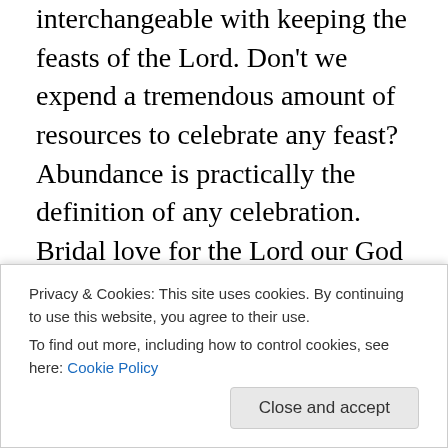interchangeable with keeping the feasts of the Lord. Don't we expend a tremendous amount of resources to celebrate any feast? Abundance is practically the definition of any celebration. Bridal love for the Lord our God is verified by how we spend our resources. It's a godly submission of stewardship. It's putting our money where our mouth is sort of speak.
Loving God with all our strength is fulfilled by spending our resources in Christ – as He perfectly desires. Anything and everything will be expended as worshipful acts of submission to our King. In the kingdom of God, we will somewhere in the world.[9] Celebrations set significant
Privacy & Cookies: This site uses cookies. By continuing to use this website, you agree to their use.
To find out more, including how to control cookies, see here: Cookie Policy